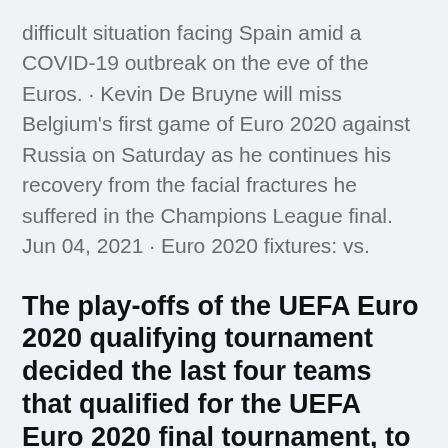difficult situation facing Spain amid a COVID-19 outbreak on the eve of the Euros. · Kevin De Bruyne will miss Belgium's first game of Euro 2020 against Russia on Saturday as he continues his recovery from the facial fractures he suffered in the Champions League final. Jun 04, 2021 · Euro 2020 fixtures: vs.
The play-offs of the UEFA Euro 2020 qualifying tournament decided the last four teams that qualified for the UEFA Euro 2020 final tournament, to be staged across Europe in June and July 2021. Unlike previous editions, the participants of the play-offs were